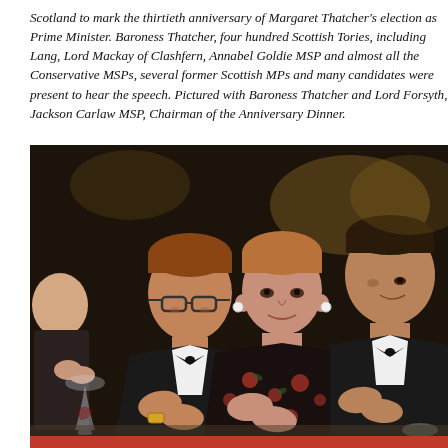Scotland to mark the thirtieth anniversary of Margaret Thatcher's election as Prime Minister. Baroness Thatcher, four hundred Scottish Tories, including Lang, Lord Mackay of Clashfern, Annabel Goldie MSP and almost all the Conservative MSPs, several former Scottish MPs and many candidates were present to hear the speech. Pictured with Baroness Thatcher and Lord Forsyth, Jackson Carlaw MSP, Chairman of the Anniversary Dinner.
[Figure (photo): Photograph of people seated at a formal dinner, applauding. Three main figures visible: a man with glasses in a black tuxedo with bow tie on the left, an elderly woman with reddish-brown hair wearing a floral dark dress in the centre (Baroness Thatcher), and a man in a black tuxedo on the right. The setting is a formal banquet hall with warm lighting.]